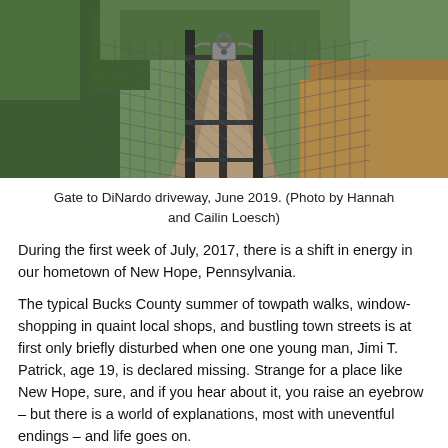[Figure (photo): A locked chain-link gate blocks a dirt driveway path. A padlock secures the gate, with green trees and vegetation on the left and dry brownish field on the right, with a tree-lined path receding into the distance.]
Gate to DiNardo driveway, June 2019. (Photo by Hannah and Cailin Loesch)
During the first week of July, 2017, there is a shift in energy in our hometown of New Hope, Pennsylvania.
The typical Bucks County summer of towpath walks, window-shopping in quaint local shops, and bustling town streets is at first only briefly disturbed when one one young man, Jimi T. Patrick, age 19, is declared missing. Strange for a place like New Hope, sure, and if you hear about it, you raise an eyebrow – but there is a world of explanations, most with uneventful endings – and life goes on.
Elsewhere in the northeast United States, locals are up in arms after Governor Chris Christie is seen with his family